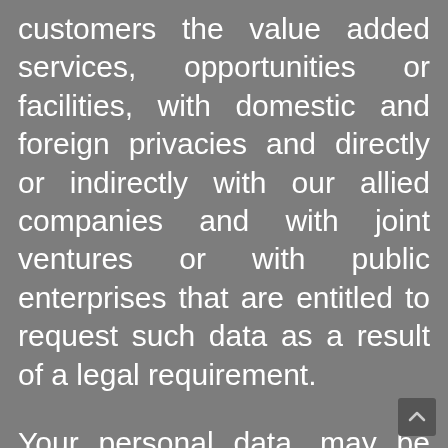customers the value added services, opportunities or facilities, with domestic and foreign privacies and directly or indirectly with our allied companies and with joint ventures or with public enterprises that are entitled to request such data as a result of a legal requirement.
Your personal data, may be variable depending on the services, products or commercial activities of our Company; may be collected